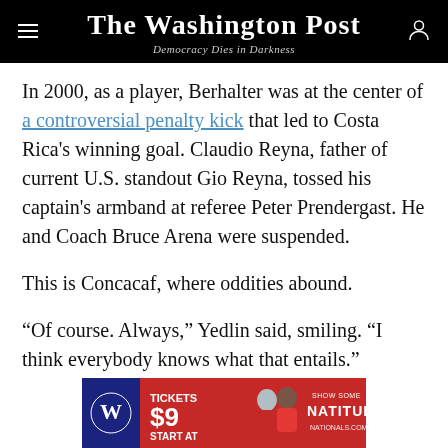The Washington Post
Democracy Dies in Darkness
In 2000, as a player, Berhalter was at the center of a controversial penalty kick that led to Costa Rica's winning goal. Claudio Reyna, father of current U.S. standout Gio Reyna, tossed his captain's armband at referee Peter Prendergast. He and Coach Bruce Arena were suspended.
This is Concacaf, where oddities abound.
“Of course. Always,” Yedlin said, smiling. “I think everybody knows what that entails.”
[Figure (infographic): Washington Nationals advertisement: Tickets Start At $9. SHOW SOME NATITUDE. NATIONALS.COM]